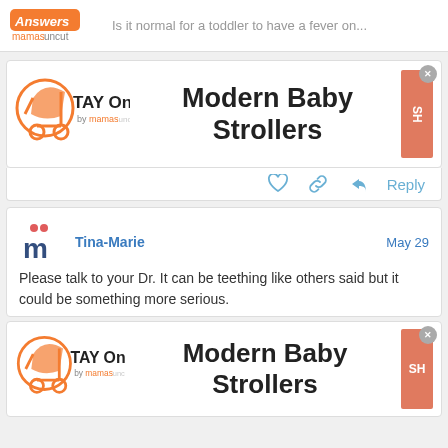Is it normal for a toddler to have a fever on...
[Figure (screenshot): TAY Online by mamas advertisement for Modern Baby Strollers with shop button]
Reply
[Figure (photo): User avatar for Tina-Marie (letter m logo)]
Tina-Marie  May 29
Please talk to your Dr. It can be teething like others said but it could be something more serious.
[Figure (screenshot): TAY Online by mamas advertisement for Modern Baby Strollers with shop button (second instance)]